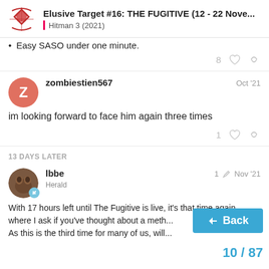Elusive Target #16: THE FUGITIVE (12 - 22 Nove... | Hitman 3 (2021)
Easy SASO under one minute.
zombiestien567  Oct '21
im looking forward to face him again three times
13 DAYS LATER
lbbe  Herald  1  Nov '21
With 17 hours left until The Fugitive is live, it's that time again where I ask if you've thought about a meth... As this is the third time for many of us, will...